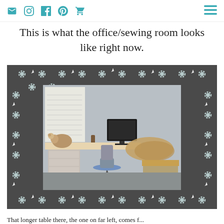Navigation icons: email, instagram, facebook, pinterest, cart, hamburger menu
This is what the office/sewing room looks like right now.
[Figure (photo): Photo of a cluttered office/sewing room with an L-shaped desk, blue office chair, computer monitor, stuffed animals, boxes, and items piled on a second desk. The photo has a decorative dark grey floral patterned border around it with a watermark reading 'Middle Aged OCD' in the bottom right corner.]
That longer table there, the one on far left, comes f...